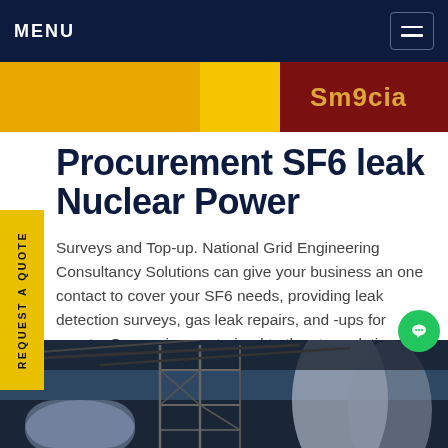MENU
[Figure (photo): Top banner image showing yellow and red signage/branding strip]
Procurement SF6 leak Nuclear Power
Surveys and Top-up. National Grid Engineering Consultancy Solutions can give your business an one contact to cover your SF6 needs, providing leak detection surveys, gas leak repairs, and -ups for assets. Our engineers, trained to the st regulations and gas handling techniques, are ipped with precise specialistGet price
[Figure (photo): Bottom image showing industrial scaffolding and large cylindrical structures inside a power facility]